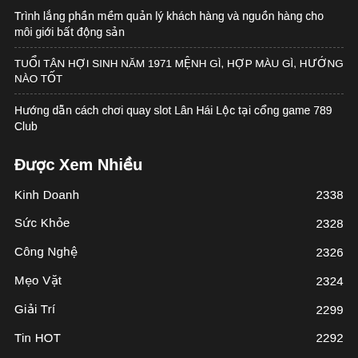Trình lắng phần mềm quản lý khách hàng và nguồn hàng cho môi giới bất động sản
TUỔI TÂN HỢI SINH NĂM 1971 MỆNH GÌ, HỢP MÀU GÌ, HƯỚNG NÀO TỐT
Hướng dẫn cách chơi quay slot Lân Hái Lộc tại cổng game 789 Club
Được Xem Nhiều
Kinh Doanh  2338
Sức Khỏe  2328
Công Nghệ  2326
Mẹo Vặt  2324
Giải Trí  2299
Tin HOT  2292